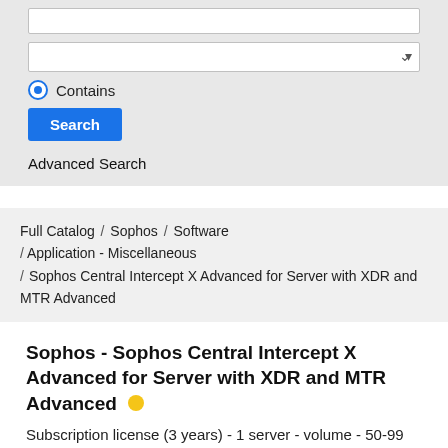[Figure (screenshot): Search panel with an empty text input box at top, a dropdown select box below it, a selected radio button labeled 'Contains', a blue 'Search' button, and an 'Advanced Search' link]
Contains
Search
Advanced Search
Full Catalog / Sophos / Software / Application - Miscellaneous / Sophos Central Intercept X Advanced for Server with XDR and MTR Advanced
Sophos - Sophos Central Intercept X Advanced for Server with XDR and MTR Advanced
Subscription license (3 years) - 1 server - volume - 50-99 licenses - Linux, Win